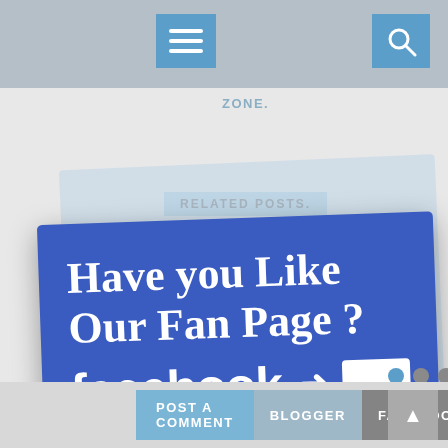[Figure (screenshot): Website screenshot showing a mobile/blog interface with a Facebook fan page promotional banner. Top gray navigation bar with hamburger menu icon and search icon. Navigation links 'ZONE.' and 'SHORT-BEARISH.' visible. A blue tilted Facebook promotional card reads 'Have you Like Our Fan Page ?' with Facebook wordmark, arrow, and a white box. Carousel dots visible below the card. Bottom bar with 'POST A COMMENT', 'BLOGGER', 'FACEBOOK' buttons and an up-arrow button.]